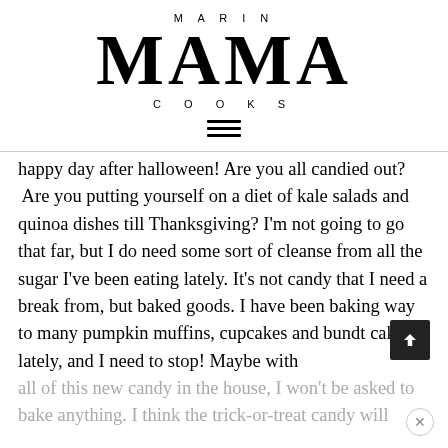MARIN MAMA COOKS
happy day after halloween!  Are you all candied out?  Are you putting yourself on a diet of kale salads and quinoa dishes till Thanksgiving? I'm not going to go that far, but I do need some sort of cleanse from all the sugar I've been eating lately. It's not candy that I need a break from, but baked goods. I have been baking way to many pumpkin muffins, cupcakes and bundt cakes lately, and I need to stop!  Maybe with all of this new candy in the house, I won't be asked to bake anything. I think the trick-or-treat candy will